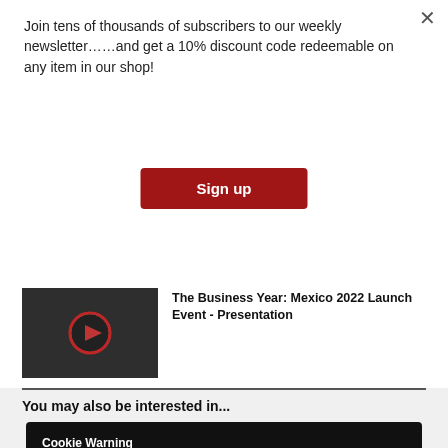Join tens of thousands of subscribers to our weekly newsletter……and get a 10% discount code redeemable on any item in our shop!
[Figure (other): Red 'Sign up' button for newsletter subscription]
[Figure (photo): Video thumbnail showing a man speaking at a podium with a red play button overlay]
The Business Year: Mexico 2022 Launch Event - Presentation
You may also be interested in...
Cookie Warning
This website stores data such as cookies to enable site functionality including analytics and personalization. By using this website, you automatically accept that we use cookies.